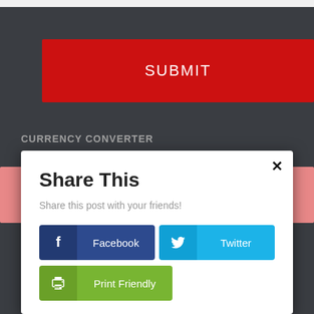[Figure (screenshot): A red SUBMIT button on a dark gray background]
CURRENCY CONVERTER
[Figure (screenshot): A modal dialog titled 'Share This' with subtitle 'Share this post with your friends!' and three share buttons: Facebook (dark blue), Twitter (light blue), and Print Friendly (green). A close (x) button is in the top right corner.]